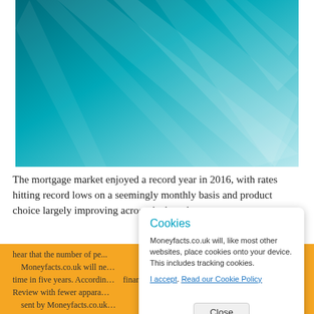[Figure (illustration): Decorative teal/turquoise abstract background image with diagonal light streaks, used as a hero image for a mortgage market article.]
The mortgage market enjoyed a record year in 2016, with rates hitting record lows on a seemingly monthly basis and product choice largely improving across the board.
hear that the number of pe...
    Moneyfacts.co.uk will ne... y
time in five years. Accordin...    financial product. Any call...ails
Review with fewer appara...
    sent by Moneyfacts.co.uk...s–
The figures show th...news.c...
have reached 354,000 in 2016...4% from 2016 when
homemover numbers totalled...This is the firs annual
Cookies

Moneyfacts.co.uk will, like most other websites, place cookies onto your device. This includes tracking cookies.

I accept. Read our Cookie Policy

Close